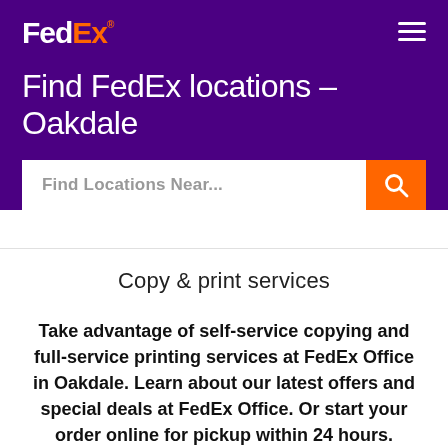[Figure (logo): FedEx logo with white 'Fed' and orange 'Ex' text on purple background]
Find FedEx locations – Oakdale
[Figure (other): Search input field with placeholder 'Find Locations Near...' and orange search button with magnifying glass icon]
Copy & print services
Take advantage of self-service copying and full-service printing services at FedEx Office in Oakdale. Learn about our latest offers and special deals at FedEx Office. Or start your order online for pickup within 24 hours.